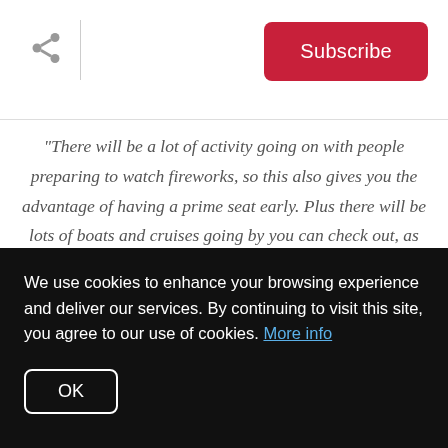Share | Subscribe
"There will be a lot of activity going on with people preparing to watch fireworks, so this also gives you the advantage of having a prime seat early. Plus there will be lots of boats and cruises going by you can check out, as they get ready to watch the fireworks as well"
3) Wicked Wolf's "4th of July
We use cookies to enhance your browsing experience and deliver our services. By continuing to visit this site, you agree to our use of cookies. More info
OK